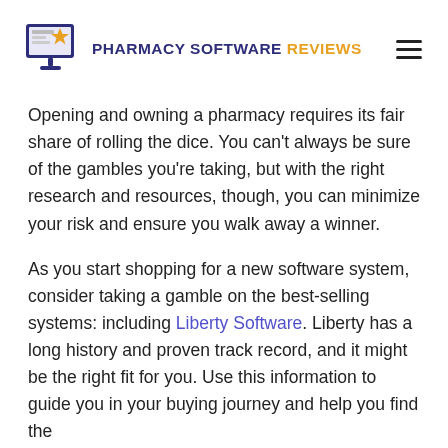PHARMACY SOFTWARE REVIEWS
Opening and owning a pharmacy requires its fair share of rolling the dice. You can’t always be sure of the gambles you’re taking, but with the right research and resources, though, you can minimize your risk and ensure you walk away a winner.
As you start shopping for a new software system, consider taking a gamble on the best-selling systems: including Liberty Software. Liberty has a long history and proven track record, and it might be the right fit for you. Use this information to guide you in your buying journey and help you find the